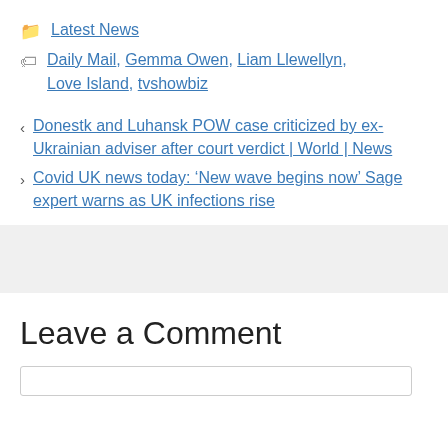Latest News
Daily Mail, Gemma Owen, Liam Llewellyn, Love Island, tvshowbiz
Donestk and Luhansk POW case criticized by ex-Ukrainian adviser after court verdict | World | News
Covid UK news today: ‘New wave begins now’ Sage expert warns as UK infections rise
Leave a Comment